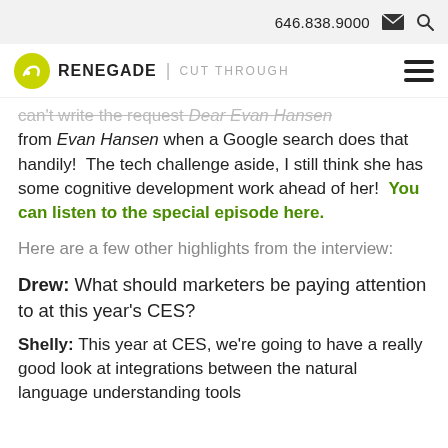646.838.9000
RENEGADE | CUT THROUGH
can't write the request Dear Evan Hansen from Evan Hansen when a Google search does that handily!  The tech challenge aside, I still think she has some cognitive development work ahead of her!  You can listen to the special episode here.
Here are a few other highlights from the interview:
Drew: What should marketers be paying attention to at this year's CES?
Shelly: This year at CES, we're going to have a really good look at integrations between the natural language understanding tools and the physical world like smart...